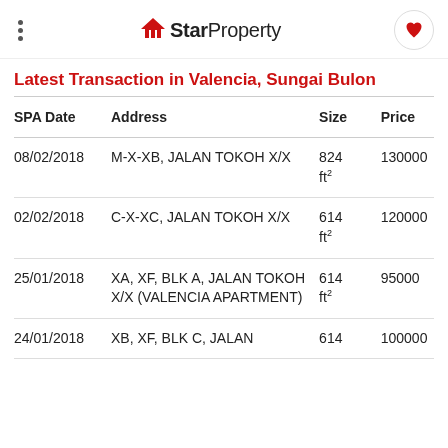StarProperty
Latest Transaction in Valencia, Sungai Bulon
| SPA Date | Address | Size | Price |
| --- | --- | --- | --- |
| 08/02/2018 | M-X-XB, JALAN TOKOH X/X | 824 ft² | 130000 |
| 02/02/2018 | C-X-XC, JALAN TOKOH X/X | 614 ft² | 120000 |
| 25/01/2018 | XA, XF, BLK A, JALAN TOKOH X/X (VALENCIA APARTMENT) | 614 ft² | 95000 |
| 24/01/2018 | XB, XF, BLK C, JALAN | 614 | 100000 |